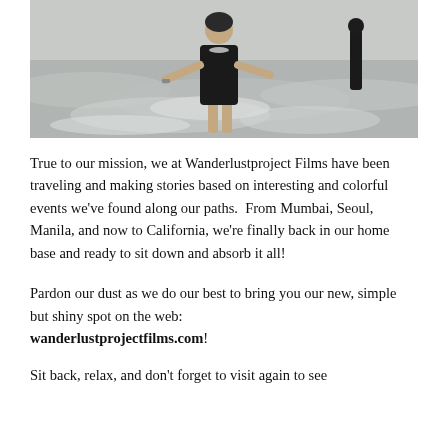[Figure (photo): A woman in a black halter-neck mini dress standing on a beach with waves, arms open, wearing a necklace and bracelets. Another person in black visible in the background.]
True to our mission, we at Wanderlustproject Films have been traveling and making stories based on interesting and colorful events we've found along our paths. From Mumbai, Seoul, Manila, and now to California, we're finally back in our home base and ready to sit down and absorb it all!
Pardon our dust as we do our best to bring you our new, simple but shiny spot on the web: wanderlustprojectfilms.com!
Sit back, relax, and don't forget to visit again to see